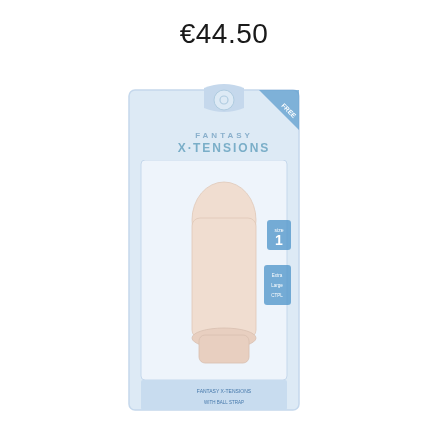€44.50
[Figure (photo): Product photo of Fantasy X-tensions penis sleeve extension in packaging. The packaging is a tall narrow box with a blue-tinted clear window showing a skin-colored silicone sleeve product. The box has a hang tab at the top, a 'FREE' banner in the corner, the 'Fantasy X-TENSIONS' brand logo, a '1' size indicator badge, and small text at the bottom.]